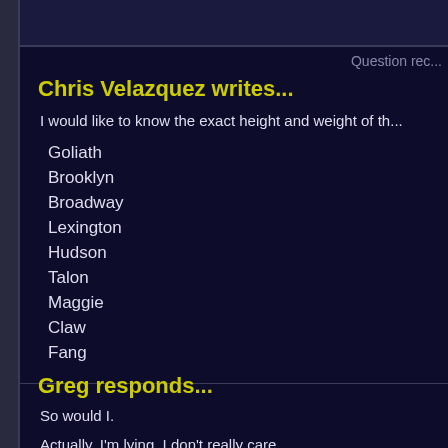Question rec...
Chris Velazquez writes...
I would like to know the exact height and weight of th...
Goliath
Brooklyn
Broadway
Lexington
Hudson
Talon
Maggie
Claw
Fang
Greg responds...
So would I.
Actually, I'm lying. I don't really care.